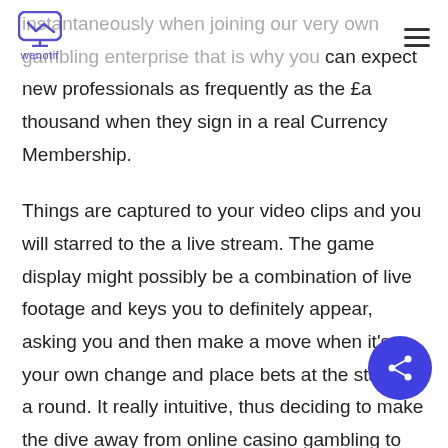wanotif
instantaneously when joining our very own gambling enterprise that is why you can expect new professionals as frequently as the £a thousand when they sign in a real Currency Membership.

Things are captured to your video clips and you will starred to the a live stream. The game display might possibly be a combination of live footage and keys you to definitely appear, asking you and then make a move when it's your own change and place bets at the start of a round. It really intuitive, thus deciding to make the dive away from online casino gambling to